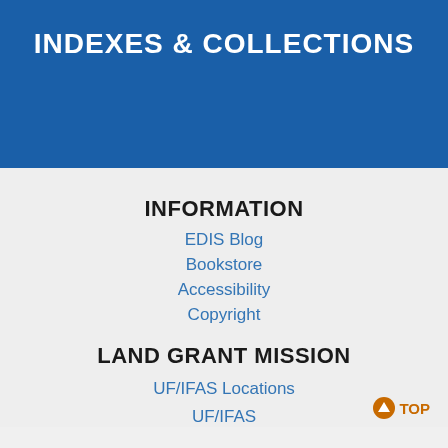INDEXES & COLLECTIONS
INFORMATION
EDIS Blog
Bookstore
Accessibility
Copyright
LAND GRANT MISSION
UF/IFAS Locations
UF/IFAS
TOP